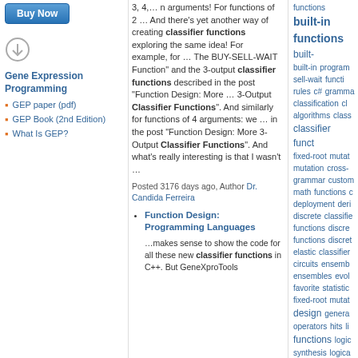[Figure (other): Buy Now button, blue gradient rounded rectangle]
[Figure (other): Download/circle icon in gray]
Gene Expression Programming
GEP paper (pdf)
GEP Book (2nd Edition)
What Is GEP?
3, 4,… n arguments! For functions of 2 … And there's yet another way of creating classifier functions exploring the same idea! For example, for … The BUY-SELL-WAIT Function" and the 3-output classifier functions described in the post "Function Design: More … 3-Output Classifier Functions". And similarly for functions of 4 arguments: we … in the post "Function Design: More 3-Output Classifier Functions". And what's really interesting is that I wasn't …
Posted 3176 days ago, Author Dr. Candida Ferreira
Function Design: Programming Languages
…makes sense to show the code for all these new classifier functions in C++. But GeneXproTools
functions built-in functions built-in programming sell-wait functions rules c# grammar classification classes algorithms classifier functions fixed-root mutation mutation cross- grammar custom math functions deployment derivative discrete classifier functions discrete functions discrete elastic classifier circuits ensemble ensembles evolution favorite statistics fixed-root mutation design general operators hits linear functions logic synthesis logical operators logistic releases mapper functions measures of fit midrange mini releases minimum minus zero F…